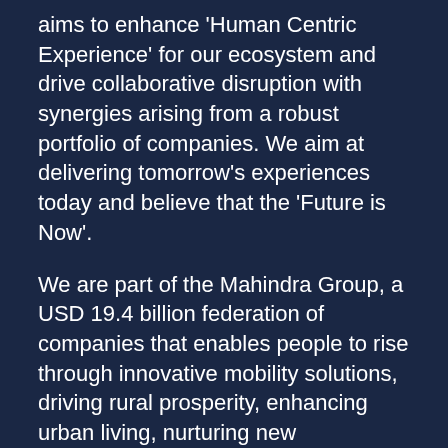aims to enhance 'Human Centric Experience' for our ecosystem and drive collaborative disruption with synergies arising from a robust portfolio of companies. We aim at delivering tomorrow's experiences today and believe that the 'Future is Now'.
We are part of the Mahindra Group, a USD 19.4 billion federation of companies that enables people to rise through innovative mobility solutions, driving rural prosperity, enhancing urban living, nurturing new businesses and fostering communities. It enjoys a leadership position in utility vehicles, information technology, financial services and vacation ownership in India and is the world's largest tractor company by volume.  It also enjoys a strong presence in renewable energy, agribusiness, logistics and real estate development.  Headquartered in India, Mahindra employs over 2,56,000 people across 100 countries.
Connect with us on www.techmahindra.com ll